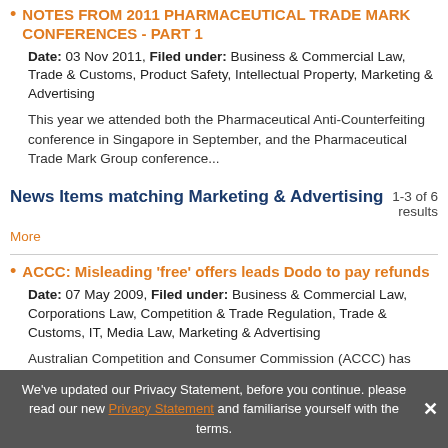NOTES FROM 2011 PHARMACEUTICAL TRADE MARK CONFERENCES - PART 1
Date: 03 Nov 2011, Filed under: Business & Commercial Law, Trade & Customs, Product Safety, Intellectual Property, Marketing & Advertising
This year we attended both the Pharmaceutical Anti-Counterfeiting conference in Singapore in September, and the Pharmaceutical Trade Mark Group conference...
News Items matching Marketing & Advertising
1-3 of 6 results
More
ACCC: Misleading 'free' offers leads Dodo to pay refunds
Date: 07 May 2009, Filed under: Business & Commercial Law, Corporations Law, Competition & Trade Regulation, Trade & Customs, IT, Media Law, Marketing & Advertising
Australian Competition and Consumer Commission (ACCC) has announced that customers of national mobile phone service provider Dodo Australia Pty Ltd who...
We've updated our Privacy Statement, before you continue. please read our new Privacy Statement and familiarise yourself with the terms.